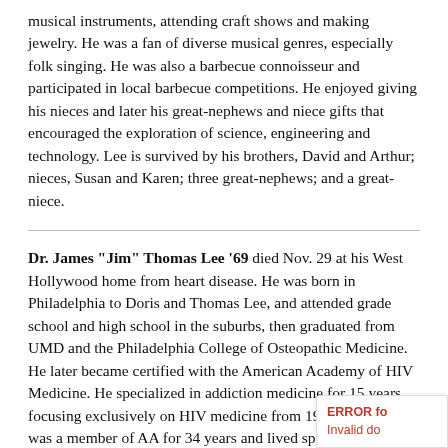musical instruments, attending craft shows and making jewelry. He was a fan of diverse musical genres, especially folk singing. He was also a barbecue connoisseur and participated in local barbecue competitions. He enjoyed giving his nieces and later his great-nephews and niece gifts that encouraged the exploration of science, engineering and technology. Lee is survived by his brothers, David and Arthur; nieces, Susan and Karen; three great-nephews; and a great-niece.
Dr. James "Jim" Thomas Lee '69 died Nov. 29 at his West Hollywood home from heart disease. He was born in Philadelphia to Doris and Thomas Lee, and attended grade school and high school in the suburbs, then graduated from UMD and the Philadelphia College of Osteopathic Medicine. He later became certified with the American Academy of HIV Medicine. He specialized in addiction medicine for 15 years, focusing exclusively on HIV medicine from 198_ onward. He was a member of AA for 34 years and lived spiritual life with A Course in Miracles, which gave hi...